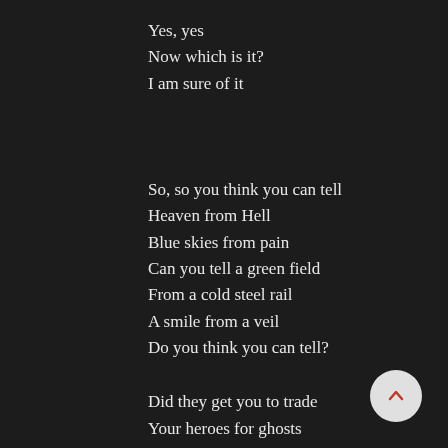Yes, yes
Now which is it?
I am sure of it
So, so you think you can tell
Heaven from Hell
Blue skies from pain
Can you tell a green field
From a cold steel rail
A smile from a veil
Do you think you can tell?
Did they get you to trade
Your heroes for ghosts
Hot ashes for trees
Hot air for a cool breeze
Cold comfort for change
Did you exchange